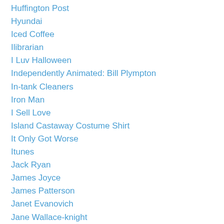Huffington Post
Hyundai
Iced Coffee
Ilibrarian
I Luv Halloween
Independently Animated: Bill Plympton
In-tank Cleaners
Iron Man
I Sell Love
Island Castaway Costume Shirt
It Only Got Worse
Itunes
Jack Ryan
James Joyce
James Patterson
Janet Evanovich
Jane Wallace-knight
J.D. Robb
Jebediah Buzzard
Jennifer Grey
Jennifer's Body